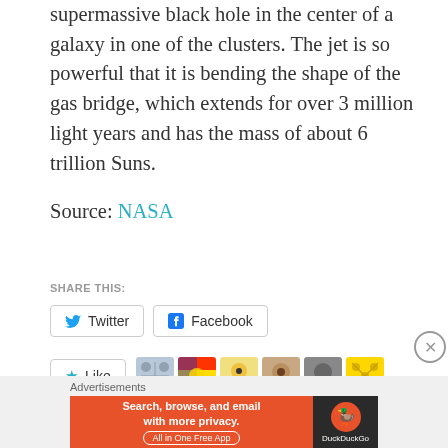supermassive black hole in the center of a galaxy in one of the clusters. The jet is so powerful that it is bending the shape of the gas bridge, which extends for over 3 million light years and has the mass of about 6 trillion Suns.
Source: NASA
SHARE THIS:
Twitter  Facebook
Like  [avatars]  6 bloggers like this.
Advertisements
[Figure (screenshot): DuckDuckGo advertisement banner: 'Search, browse, and email with more privacy. All in One Free App' on orange background with DuckDuckGo logo on dark background]